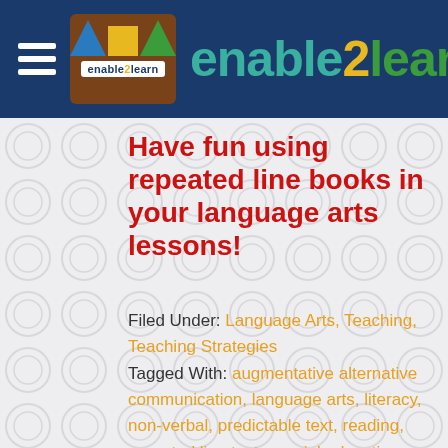enable2learn
Have fun using repeated line books in your language arts lessons!
Filed Under: Language Arts, Teaching, Teaching Strategies Tagged With: augmentative alternative communication, language arts, literacy, non-verbal, predictable text, reading, repeated line text, special education